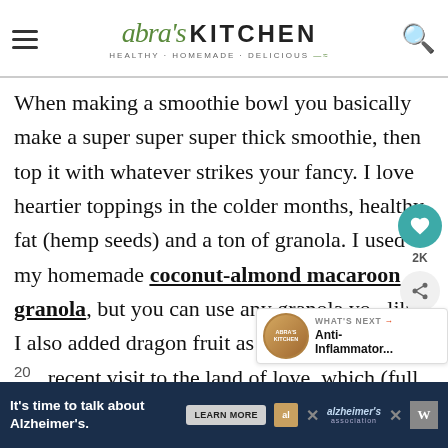Abra's Kitchen — HEALTHY · HOMEMADE · DELICIOUS
When making a smoothie bowl you basically make a super super super thick smoothie, then top it with whatever strikes your fancy. I love heartier toppings in the colder months, healthy fat (hemp seeds) and a ton of granola. I used my homemade coconut-almond macaroon granola, but you can use any granola you like. I also added dragon fruit as another tribute to my recent visit to the land of love, which (full disclosure) cost me $7 in NYC, for ONE dragon fruit (hangs head in shame.) I honestly bought dragon fruit for about 20 cents…
[Figure (screenshot): What's Next promotional box showing Anti-Inflammatory article]
[Figure (screenshot): Alzheimer's Association advertisement banner at bottom of page]